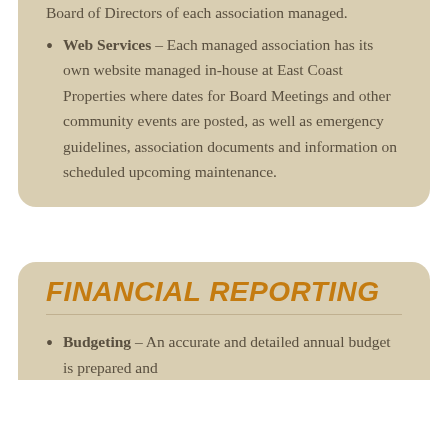Web Services – Each managed association has its own website managed in-house at East Coast Properties where dates for Board Meetings and other community events are posted, as well as emergency guidelines, association documents and information on scheduled upcoming maintenance.
FINANCIAL REPORTING
Budgeting – An accurate and detailed annual budget is prepared and